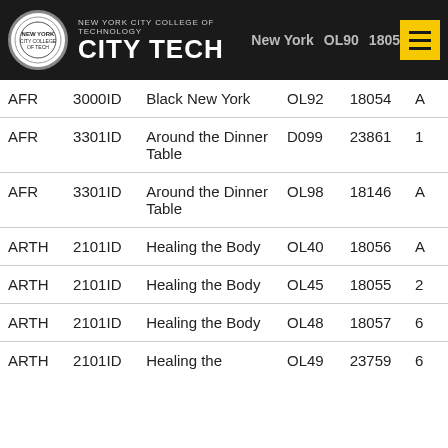NEW YORK CITY COLLEGE OF TECHNOLOGY CITY TECH
| Dept | Course | Title | Section | Class# |  |
| --- | --- | --- | --- | --- | --- |
| AFR | 3000ID | Black New York | OL92 | 18054 | A |
| AFR | 3301ID | Around the Dinner Table | D099 | 23861 | 1 |
| AFR | 3301ID | Around the Dinner Table | OL98 | 18146 | A |
| ARTH | 2101ID | Healing the Body | OL40 | 18056 | A |
| ARTH | 2101ID | Healing the Body | OL45 | 18055 | 2 |
| ARTH | 2101ID | Healing the Body | OL48 | 18057 | 6 |
| ARTH | 2101ID | Healing the | OL49 | 23759 | 6 |